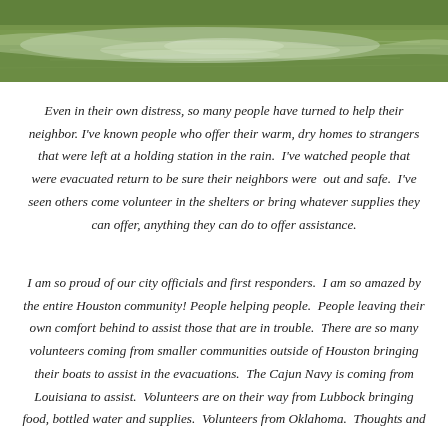[Figure (photo): Aerial or close-up photo of green grassy flooded area with water reflection, showing flood conditions]
Even in their own distress, so many people have turned to help their neighbor. I've known people who offer their warm, dry homes to strangers that were left at a holding station in the rain. I've watched people that were evacuated return to be sure their neighbors were out and safe. I've seen others come volunteer in the shelters or bring whatever supplies they can offer, anything they can do to offer assistance.
I am so proud of our city officials and first responders. I am so amazed by the entire Houston community! People helping people. People leaving their own comfort behind to assist those that are in trouble. There are so many volunteers coming from smaller communities outside of Houston bringing their boats to assist in the evacuations. The Cajun Navy is coming from Louisiana to assist. Volunteers are on their way from Lubbock bringing food, bottled water and supplies. Volunteers from Oklahoma. Thoughts and